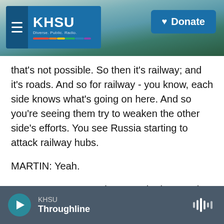[Figure (screenshot): KHSU public radio website header with logo, hamburger menu, beach/coastal background photo, and Donate button]
that's not possible. So then it's railway; and it's roads. And so for railway - you know, each side knows what's going on here. And so you're seeing them try to weaken the other side's efforts. You see Russia starting to attack railway hubs.
MARTIN: Yeah.
PAVEL: We've seen that over the last week. And to me, that's very, very concerning. You've seen some fuel depots go up - you know, explosions at fuel depots in Russia, where, to me, it looks like the Ukrainians are targeting, you know, critical logistics
KHSU Throughline